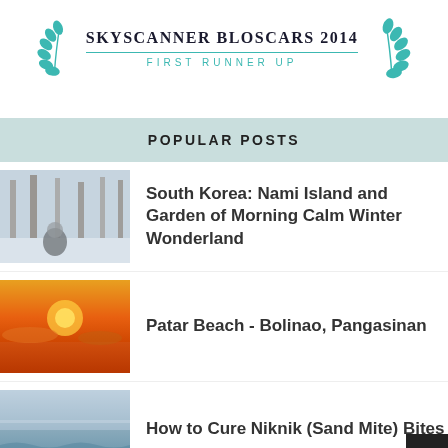[Figure (logo): Skyscanner Bloscars 2014 First Runner Up award badge with teal laurel wreaths on each side and text in center]
POPULAR POSTS
[Figure (photo): Snowy winter scene with trees and a person in winter clothing]
South Korea: Nami Island and Garden of Morning Calm Winter Wonderland
[Figure (photo): Orange sunset over a beach or seascape]
Patar Beach - Bolinao, Pangasinan
[Figure (photo): Misty blue ocean or sea scene]
How to Cure Niknik (Sand Mite) Bites